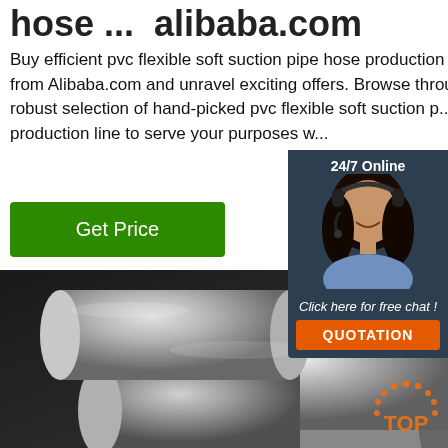hose ... alibaba.com
Buy efficient pvc flexible soft suction pipe hose production line from Alibaba.com and unravel exciting offers. Browse through a robust selection of hand-picked pvc flexible soft suction pipe production line to serve your purposes w...
[Figure (other): Green 'Get Price' button]
[Figure (photo): Stainless steel round metal rods/bars arranged in a pile on dark background]
[Figure (other): 24/7 Online chat widget with woman wearing headset, 'Click here for free chat!' text and orange QUOTATION button]
[Figure (other): Orange TOP badge with dotted arc above the text]